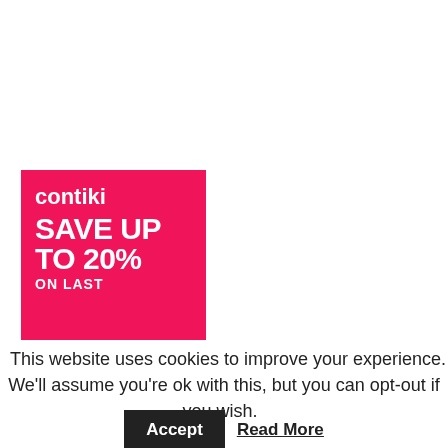[Figure (logo): Contiki promotional banner on a hot pink/red background. Shows 'contiki' logo text in white, then large bold white text 'SAVE UP TO 20%' and below 'ON LAST'.]
This website uses cookies to improve your experience. We'll assume you're ok with this, but you can opt-out if you wish.
Accept   Read More